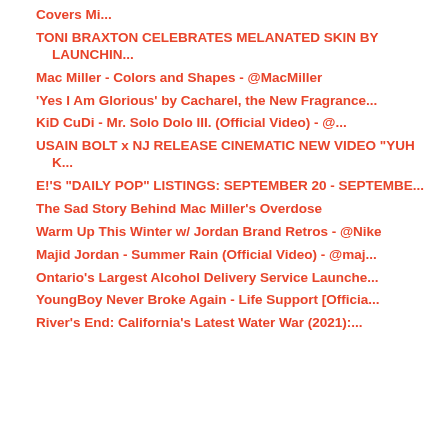Covers Mi...
TONI BRAXTON CELEBRATES MELANATED SKIN BY LAUNCHIN...
Mac Miller - Colors and Shapes - @MacMiller
'Yes I Am Glorious' by Cacharel, the New Fragrance...
KiD CuDi - Mr. Solo Dolo III. (Official Video) - @...
USAIN BOLT x NJ RELEASE CINEMATIC NEW VIDEO "YUH K...
E!'S "DAILY POP" LISTINGS: SEPTEMBER 20 - SEPTEMBE...
The Sad Story Behind Mac Miller's Overdose
Warm Up This Winter w/ Jordan Brand Retros - @Nike
Majid Jordan - Summer Rain (Official Video) - @maj...
Ontario's Largest Alcohol Delivery Service Launche...
YoungBoy Never Broke Again - Life Support [Officia...
River's End: California's Latest Water War (2021):...